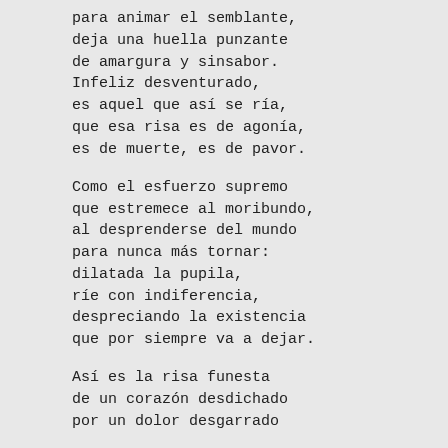para animar el semblante,
deja una huella punzante
de amargura y sinsabor.
Infeliz desventurado,
es aquel que así se ría,
que esa risa es de agonía,
es de muerte, es de pavor.

Como el esfuerzo supremo
que estremece al moribundo,
al desprenderse del mundo
para nunca más tornar:
dilatada la pupila,
ríe con indiferencia,
despreciando la existencia
que por siempre va a dejar.

Así es la risa funesta
de un corazón desdichado
por un dolor desgarrado